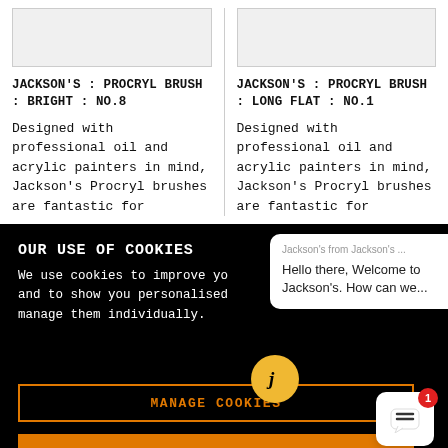[Figure (other): Product image placeholder (light grey box) for Jackson's Procryl Brush Bright No.8]
[Figure (other): Product image placeholder (light grey box) for Jackson's Procryl Brush Long Flat No.1]
JACKSON'S : PROCRYL BRUSH : BRIGHT : NO.8
JACKSON'S : PROCRYL BRUSH : LONG FLAT : NO.1
Designed with professional oil and acrylic painters in mind, Jackson's Procryl brushes are fantastic for applying paint for oil...
Designed with professional oil and acrylic painters in mind, Jackson's Procryl brushes are fantastic for applying paint for oil...
OUR USE OF COOKIES
We use cookies to improve your experience and to show you personalised manage them individually
Jackson's from Jackson's ...
Hello there, Welcome to Jackson's. How can we...
MANAGE COOKIES
ALLOW ALL